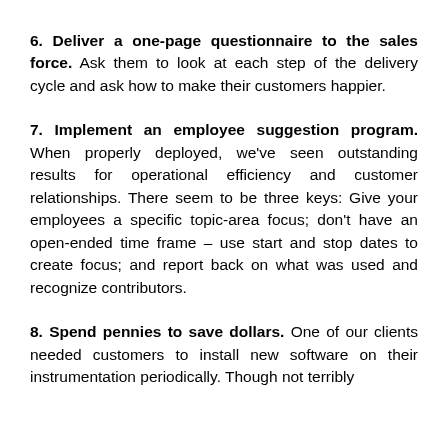6. Deliver a one-page questionnaire to the sales force. Ask them to look at each step of the delivery cycle and ask how to make their customers happier.
7. Implement an employee suggestion program. When properly deployed, we've seen outstanding results for operational efficiency and customer relationships. There seem to be three keys: Give your employees a specific topic-area focus; don't have an open-ended time frame – use start and stop dates to create focus; and report back on what was used and recognize contributors.
8. Spend pennies to save dollars. One of our clients needed customers to install new software on their instrumentation periodically. Though not terribly